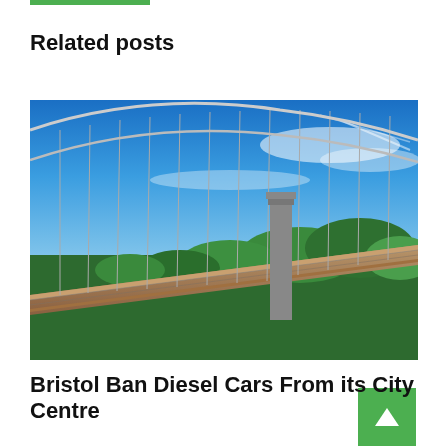Related posts
[Figure (photo): Clifton Suspension Bridge in Bristol viewed from the bridge deck level, showing cables, pillars, and surrounding green hillside under a blue sky with wispy clouds.]
Bristol Ban Diesel Cars From its City Centre